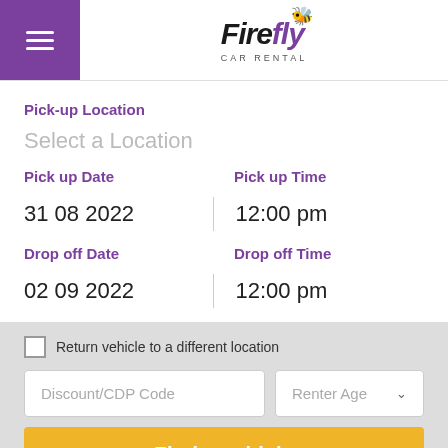[Figure (logo): Firefly Car Rental logo with hamburger menu icon on purple background]
Pick-up Location
Select a Location
Pick up Date
Pick up Time
31 08 2022
12:00 pm
Drop off Date
Drop off Time
02 09 2022
12:00 pm
Return vehicle to a different location
Discount/CDP Code
Renter Age
Find a vehicle